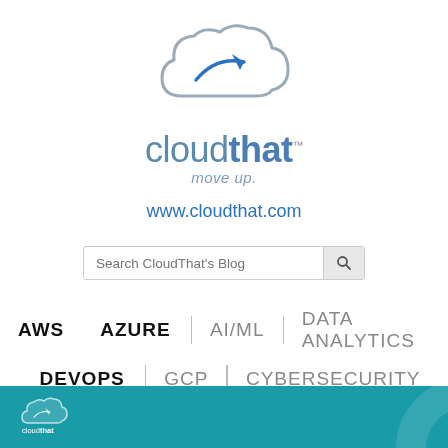[Figure (logo): CloudThat logo: grey cloud outline with blue arrow inside, and text 'cloudthat move up.' below]
www.cloudthat.com
[Figure (screenshot): Search bar with placeholder text 'Search CloudThat's Blog' and a search button]
AWS
AZURE
AI/ML
DATA ANALYTICS
DEVOPS
GCP
CYBERSECURITY
TEST PREP
TRAINING
CONSULTING
[Figure (photo): Teal/cyan banner at the bottom with CloudThat logo watermark on left and partial circular design on right]